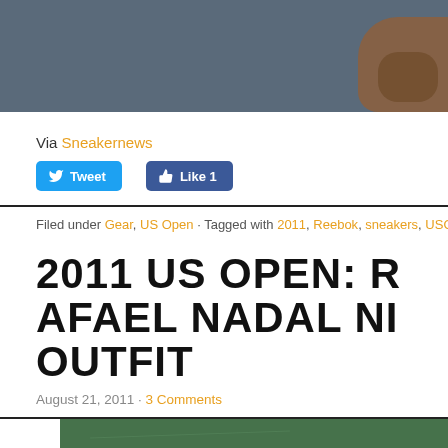[Figure (photo): Close-up photo of a shoe on a dark blue-gray background, partially cropped]
Via Sneakernews
[Figure (screenshot): Tweet button (blue) and Like 1 button (blue Facebook)]
Filed under Gear, US Open · Tagged with 2011, Reebok, sneakers, USOpen201…
2011 US OPEN: RAFAEL NADAL NI… OUTFIT
August 21, 2011 · 3 Comments
[Figure (photo): Green tennis court surface, partially visible at bottom of page]